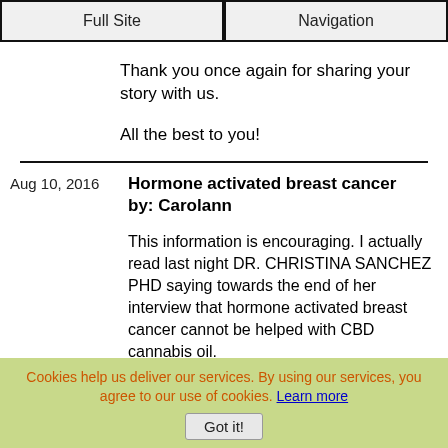Full Site | Navigation
Thank you once again for sharing your story with us.
All the best to you!
Hormone activated breast cancer by: Carolann
This information is encouraging. I actually read last night DR. CHRISTINA SANCHEZ PHD saying towards the end of her interview that hormone activated breast cancer cannot be helped with CBD cannabis oil.
I'm wondering if I should switch to high THC instead of high CBD and very low THC. I'd like to hear from any women with my
Cookies help us deliver our services. By using our services, you agree to our use of cookies. Learn more
Got it!